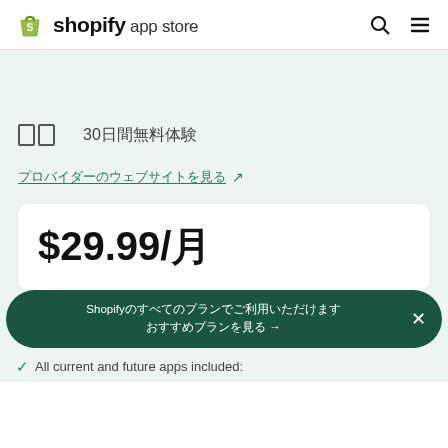shopify app store
無料 30日間無料体験
プロバイダーのウェブサイトを見る (external link)
$29.99/月
Shopifyのすべてのプランでご利用いただけます →
All current and future apps included: